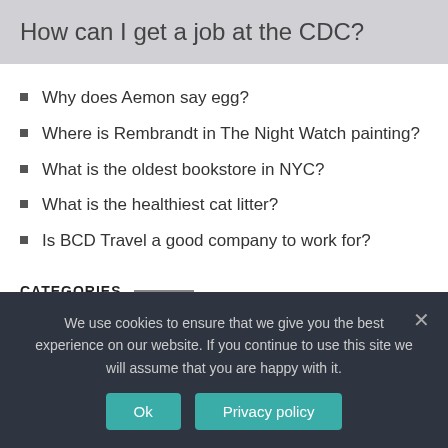How can I get a job at the CDC?
Why does Aemon say egg?
Where is Rembrandt in The Night Watch painting?
What is the oldest bookstore in NYC?
What is the healthiest cat litter?
Is BCD Travel a good company to work for?
CATEGORIES
Advice
We use cookies to ensure that we give you the best experience on our website. If you continue to use this site we will assume that you are happy with it.